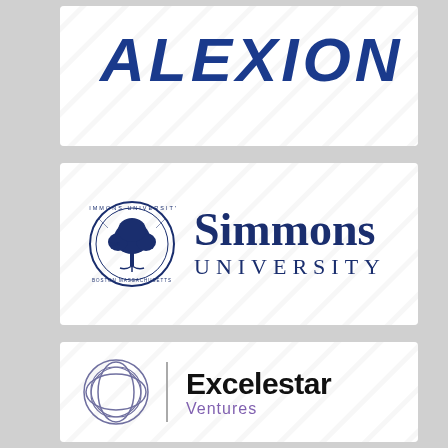[Figure (logo): Alexion logo — bold italic text 'ALEXION' in dark blue on white card with diagonal stripe watermark]
[Figure (logo): Simmons University logo — circular seal with tree on left, serif text 'Simmons UNIVERSITY' in dark navy on white card with diagonal stripe watermark]
[Figure (logo): Excelestar Ventures logo — geometric globe outline icon on left, vertical divider, bold sans-serif 'Excelestar' in black and 'Ventures' in purple on white card with diagonal stripe watermark]